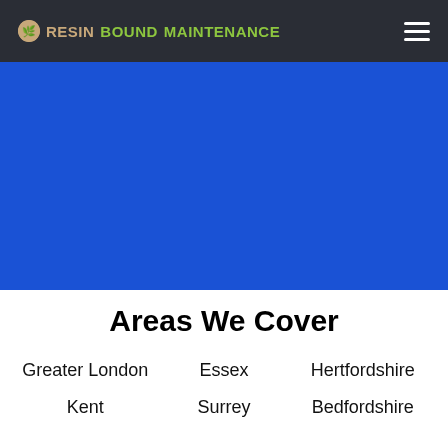RESIN BOUND MAINTENANCE
[Figure (photo): Blue hero image banner area]
Areas We Cover
Greater London
Essex
Hertfordshire
Kent
Surrey
Bedfordshire